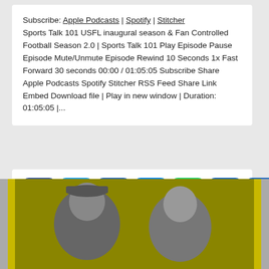Subscribe: Apple Podcasts | Spotify | Stitcher Sports Talk 101 USFL inaugural season & Fan Controlled Football Season 2.0 | Sports Talk 101 Play Episode Pause Episode Mute/Unmute Episode Rewind 10 Seconds 1x Fast Forward 30 seconds 00:00 / 01:05:05 Subscribe Share Apple Podcasts Spotify Stitcher RSS Feed Share Link Embed Download file | Play in new window | Duration: 01:05:05 |...
[Figure (other): Row of social media share buttons: Facebook, Twitter, LinkedIn, Messenger, WhatsApp, Email, Share]
[Figure (photo): Black and white photo of two people (one wearing a cap) against an olive/yellow-green background, with yellow border strips on left and right]